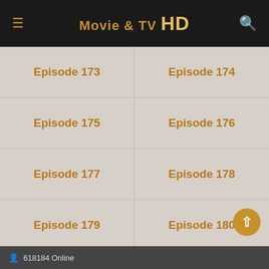Movie & TV HD
Episode 173
Episode 174
Episode 175
Episode 176
Episode 177
Episode 178
Episode 179
Episode 180
Episode 181
Episode 182
Episode 183
Episode 184
Episode 185
Episode 186
Episode 187
Episode 188
Episode 189
Episode 190
618184 Online